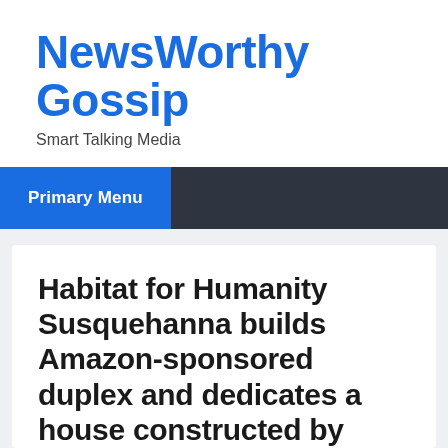NewsWorthy Gossip
Smart Talking Media
Primary Menu
Habitat for Humanity Susquehanna builds Amazon-sponsored duplex and dedicates a house constructed by